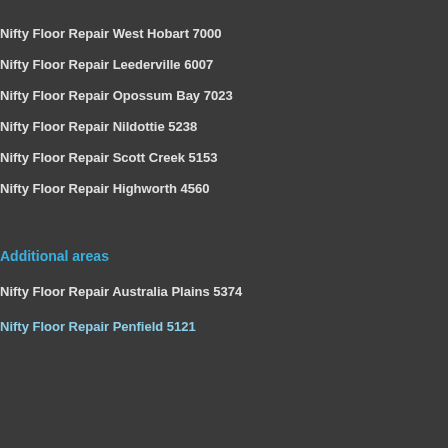Nifty Floor Repair West Hobart 7000
Nifty Floor Repair Leederville 6007
Nifty Floor Repair Opossum Bay 7023
Nifty Floor Repair Nildottie 5238
Nifty Floor Repair Scott Creek 5153
Nifty Floor Repair Highworth 4560
Additional areas
Nifty Floor Repair Australia Plains 5374
Nifty Floor Repair Penfield 5121